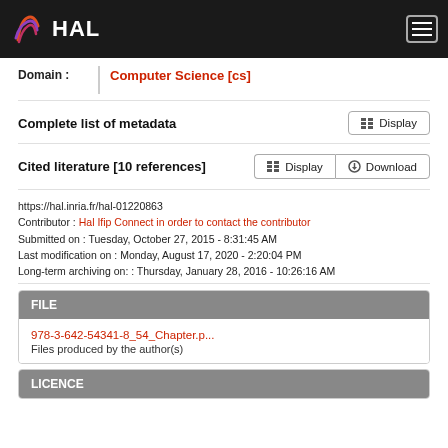HAL
Domain : Computer Science [cs]
Complete list of metadata  Display
Cited literature [10 references]  Display  Download
https://hal.inria.fr/hal-01220863
Contributor : Hal Ifip Connect in order to contact the contributor
Submitted on : Tuesday, October 27, 2015 - 8:31:45 AM
Last modification on : Monday, August 17, 2020 - 2:20:04 PM
Long-term archiving on: : Thursday, January 28, 2016 - 10:26:16 AM
FILE
978-3-642-54341-8_54_Chapter.p...
Files produced by the author(s)
LICENCE